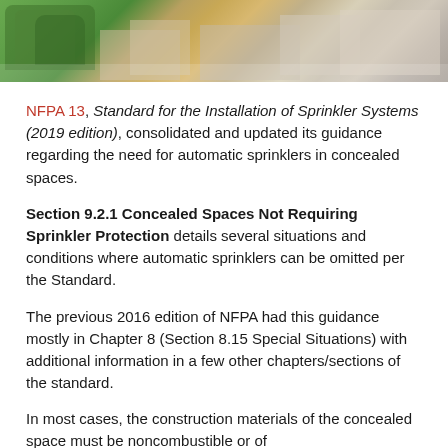[Figure (photo): Aerial/street view photo of buildings and trees, used as a decorative banner at the top of the page.]
NFPA 13, Standard for the Installation of Sprinkler Systems (2019 edition), consolidated and updated its guidance regarding the need for automatic sprinklers in concealed spaces.
Section 9.2.1 Concealed Spaces Not Requiring Sprinkler Protection details several situations and conditions where automatic sprinklers can be omitted per the Standard.
The previous 2016 edition of NFPA had this guidance mostly in Chapter 8 (Section 8.15 Special Situations) with additional information in a few other chapters/sections of the standard.
In most cases, the construction materials of the concealed space must be noncombustible or of